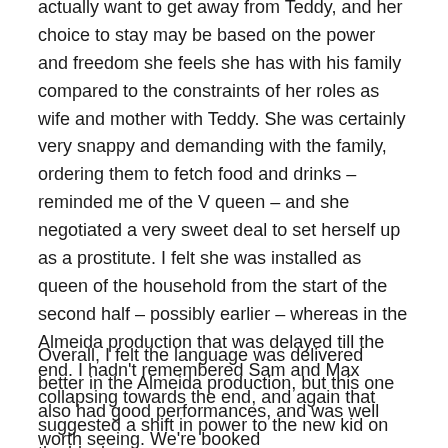actually want to get away from Teddy, and her choice to stay may be based on the power and freedom she feels she has with his family compared to the constraints of her roles as wife and mother with Teddy. She was certainly very snappy and demanding with the family, ordering them to fetch food and drinks – reminded me of the V queen – and she negotiated a very sweet deal to set herself up as a prostitute. I felt she was installed as queen of the household from the start of the second half – possibly earlier – whereas in the Almeida production that was delayed till the end. I hadn't remembered Sam and Max collapsing towards the end, and again that suggested a shift in power to the new kid on the block.
Overall, I felt the language was delivered better in the Almeida production, but this one also had good performances, and was well worth seeing. We're booked